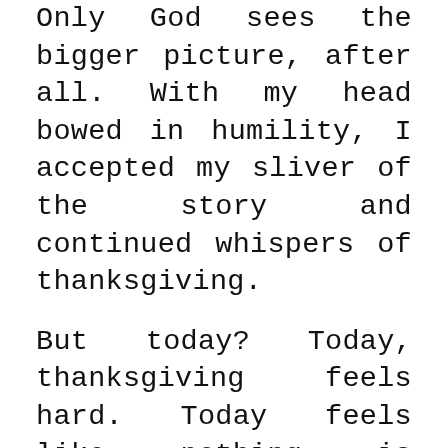Only God sees the bigger picture, after all. With my head bowed in humility, I accepted my sliver of the story and continued whispers of thanksgiving.
But today? Today, thanksgiving feels hard. Today feels like nothing is happening. And if something is happening, well, it feels like moving backwards, away from the prayer. And if you know me at all, you know that I actually prefer being in chaos to feeling like nothing is happening. Chaos allows me to feel like I can still control things. But nothing? You